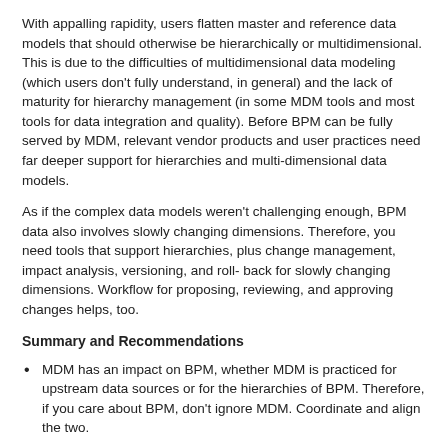With appalling rapidity, users flatten master and reference data models that should otherwise be hierarchically or multidimensional. This is due to the difficulties of multidimensional data modeling (which users don't fully understand, in general) and the lack of maturity for hierarchy management (in some MDM tools and most tools for data integration and quality). Before BPM can be fully served by MDM, relevant vendor products and user practices need far deeper support for hierarchies and multi-dimensional data models.
As if the complex data models weren't challenging enough, BPM data also involves slowly changing dimensions. Therefore, you need tools that support hierarchies, plus change management, impact analysis, versioning, and roll- back for slowly changing dimensions. Workflow for proposing, reviewing, and approving changes helps, too.
Summary and Recommendations
MDM has an impact on BPM, whether MDM is practiced for upstream data sources or for the hierarchies of BPM. Therefore, if you care about BPM, don't ignore MDM. Coordinate and align the two.
MDM within BI and DW tools and platforms -- specifically for BPM -- is still not common enough. More users need to apply their MDM talents to hierarchical metrics.
Hierarchies are implicit in any metric-driven practice such as BPM. Therefore, BPM is best coordinated with an MDM solution that supports hierarchy management.
Slowly changing dimensions are an issue with most DW and BI applications, including BPM. With MDM for BPM, look for tools and platforms supporting hierarchy management, plus versioning, roll-back, change management, and other functions that help with